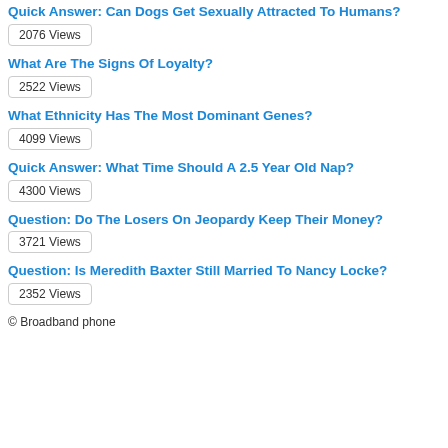Quick Answer: Can Dogs Get Sexually Attracted To Humans?
2076 Views
What Are The Signs Of Loyalty?
2522 Views
What Ethnicity Has The Most Dominant Genes?
4099 Views
Quick Answer: What Time Should A 2.5 Year Old Nap?
4300 Views
Question: Do The Losers On Jeopardy Keep Their Money?
3721 Views
Question: Is Meredith Baxter Still Married To Nancy Locke?
2352 Views
© Broadband phone